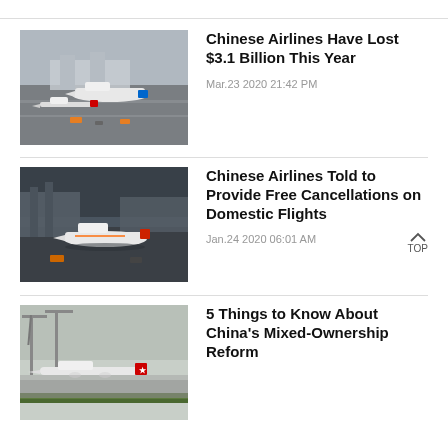[Figure (photo): Aerial view of airport with China Southern and Air China planes at gates]
Chinese Airlines Have Lost $3.1 Billion This Year
Mar.23 2020 21:42 PM
[Figure (photo): Aerial view of airport at dusk with Hainan Airlines plane on tarmac]
Chinese Airlines Told to Provide Free Cancellations on Domestic Flights
Jan.24 2020 06:01 AM
[Figure (photo): China Eastern Airlines plane at airport with construction cranes in background]
5 Things to Know About China's Mixed-Ownership Reform